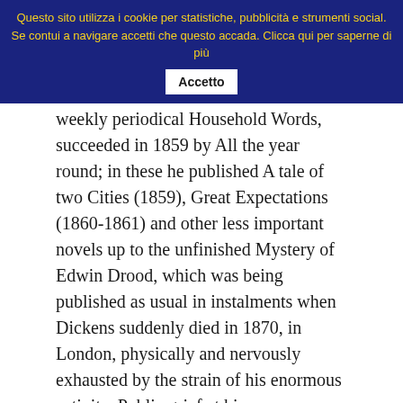Questo sito utilizza i cookie per statistiche, pubblicità e strumenti social. Se contui a navigare accetti che questo accada. Clicca qui per saperne di più  Accetto
weekly periodical Household Words, succeeded in 1859 by All the year round; in these he published A tale of two Cities (1859), Great Expectations (1860-1861) and other less important novels up to the unfinished Mystery of Edwin Drood, which was being published as usual in instalments when Dickens suddenly died in 1870, in London, physically and nervously exhausted by the strain of his enormous activity. Public grief at his